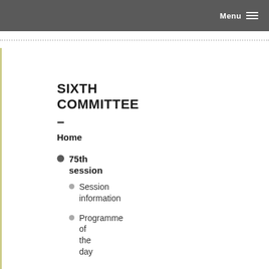Menu
SIXTH COMMITTEE – Home
75th session
Session information
Programme of the day